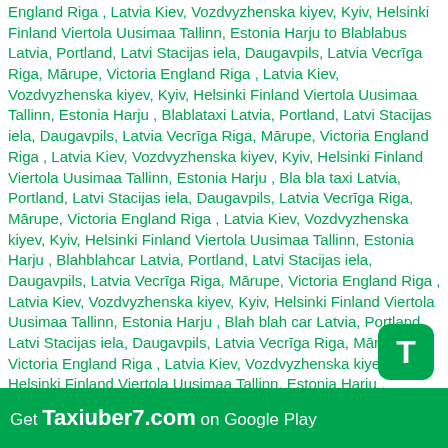England Riga , Latvia Kiev, Vozdvyzhenska kiyev, Kyiv, Helsinki Finland Viertola Uusimaa Tallinn, Estonia Harju to Blablabus Latvia, Portland, Latvi Stacijas iela, Daugavpils, Latvia Vecrīga Riga, Mārupe, Victoria England Riga , Latvia Kiev, Vozdvyzhenska kiyev, Kyiv, Helsinki Finland Viertola Uusimaa Tallinn, Estonia Harju , Blablataxi Latvia, Portland, Latvi Stacijas iela, Daugavpils, Latvia Vecrīga Riga, Mārupe, Victoria England Riga , Latvia Kiev, Vozdvyzhenska kiyev, Kyiv, Helsinki Finland Viertola Uusimaa Tallinn, Estonia Harju , Bla bla taxi Latvia, Portland, Latvi Stacijas iela, Daugavpils, Latvia Vecrīga Riga, Mārupe, Victoria England Riga , Latvia Kiev, Vozdvyzhenska kiyev, Kyiv, Helsinki Finland Viertola Uusimaa Tallinn, Estonia Harju , Blahblahcar Latvia, Portland, Latvi Stacijas iela, Daugavpils, Latvia Vecrīga Riga, Mārupe, Victoria England Riga , Latvia Kiev, Vozdvyzhenska kiyev, Kyiv, Helsinki Finland Viertola Uusimaa Tallinn, Estonia Harju , Blah blah car Latvia, Portland, Latvi Stacijas iela, Daugavpils, Latvia Vecrīga Riga, Mārupe, Victoria England Riga , Latvia Kiev, Vozdvyzhenska kiyev, Kyiv, Helsinki Finland Viertola Uusimaa Tallinn, Estonia Harju , Blablacar bus Latvia, Portland, Latvi Stacijas iela, Daugavpils, Latvia Vecrīga Riga, Mārupe, Victoria England Riga , Latvia Kiev, Vozdvyzhenska kiyev, Kyiv, Helsinki Finland Viertola Uusimaa Tallinn, Estonia Harju , Blablacar Latvia, Portland, Latvi Stacijas iela, Daugavpils, Latvia Vecrīga Riga, Mārupe, Victoria England Riga , Latvia Kiev, Vozdvyzhenska kiyev, Kyiv, Helsinki Finland Viertola Uusimaa Tallinn, Estonia Harju , blablacar Latvi Stacijas iela, Daugavpils, Latvia Vecrīga Riga, Mārupe, Victoria England Riga , Latvia Kiev, Vozdvyzhenska kiyev, Kyiv, Helsinki Finland Viertola Uusimaa Tallinn, Estonia Harju , blablacar
[Figure (other): A green rounded square button with a white T letter, overlapping the main text block, positioned bottom-right area]
Get Taxiuber7.com on Google Play